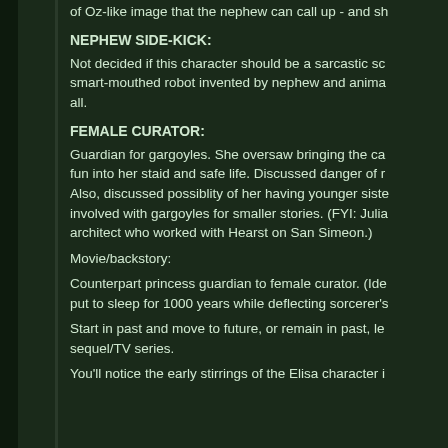of Oz-like image that the nephew can call up - and sh
NEPHEW SIDE-KICK:
Not decided if this character should be a sarcastic sc smart-mouthed robot invented by nephew and anima all.
FEMALE CURATOR:
Guardian for gargoyles. She oversaw bringing the ca fun into her staid and safe life. Discussed danger of r Also, discussed possiblity of her having younger siste involved with gargoyles for smaller stories. (FYI: Julia architect who worked with Hearst on San Simeon.)
Movie/backstory:
Counterpart princess guardian to female curator. (Ide put to sleep for 1000 years while deflecting sorcerer's
Start in past and move to future, or remain in past, le sequel/TV series.
You'll notice the early stirrings of the Elisa character i